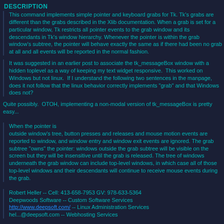DESCRIPTION
This command implements simple pointer and keyboard grabs for Tk. Tk's grabs are different than the grabs described in the Xlib documentation. When a grab is set for a particular window, Tk restricts all pointer events to the grab window and its descendants in Tk's window hierarchy. Whenever the pointer is within the grab window's subtree, the pointer will behave exactly the same as if there had been no grab at all and all events will be reported in the normal fashion.
It was suggested in an earlier post to associate the tk_messageBox window with a hidden toplevel as a way of keeping my text widget responsive.  This worked on Windows but not linux.  If I understand the following two sentences in the manpage, does it not follow that the linux behavior correctly implements "grab" and that Windows does not?
Quite possibly.  OTOH, implementing a non-modal version of tk_messageBox is pretty easy...
When the pointer is
outside window's tree, button presses and releases and mouse motion events are reported to window, and window entry and window exit events are ignored. The grab subtree "owns" the pointer: windows outside the grab subtree will be visible on the screen but they will be insensitive until the grab is released. The tree of windows underneath the grab window can include top-level windows, in which case all of those top-level windows and their descendants will continue to receive mouse events during the grab.
Robert Heller -- Cell: 413-658-7953 GV: 978-633-5364
Deepwoods Software -- Custom Software Services
http://www.deepsoft.com/ -- Linux Administration Services
hel...@deepsoft.com -- Webhosting Services